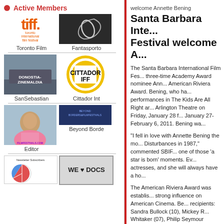Active Members
[Figure (logo): TIFF Toronto International Film Festival logo]
Toronto Film
[Figure (logo): Fantasporto logo - black and white swoosh]
Fantasporto
[Figure (photo): San Sebastian festival sign on hillside]
SanSebastian
[Figure (logo): Cittador IFF yellow circle logo]
Cittador Int
[Figure (photo): Editor photo - person with glasses]
Editor
[Figure (logo): Beyond Borders logo blue background]
Beyond Borde
[Figure (infographic): Newsletter Subscribers pie chart]
[Figure (logo): WE LOVE DOCS logo on license plate style]
welcome Annette Bening
Santa Barbara Inte... Festival welcome A...
The Santa Barbara International Film Fes... three-time Academy Award nominee Ann... American Riviera Award. Bening, who ha... performances in The Kids Are All Right ar... Arlington Theatre on Friday, January 28 f... January 27- February 6, 2011. Bening wa...
“I fell in love with Annette Bening the mo... Disturbances in 1987,” commented SBIF... one of those ‘a star is born’ moments. Ev... actresses, and she will always have a ho...
The American Riviera Award was establis... strong influence on American Cinema. Be... recipients: Sandra Bullock (10), Mickey R... Whitaker (07), Philip Seymour Hoffman (0...
In her most recent performance as Nic in... navigated through a vast range of emotio... traditional family with a character determi... year in Mother and Child saw Bening per... who was isolated and distant in her relatio...